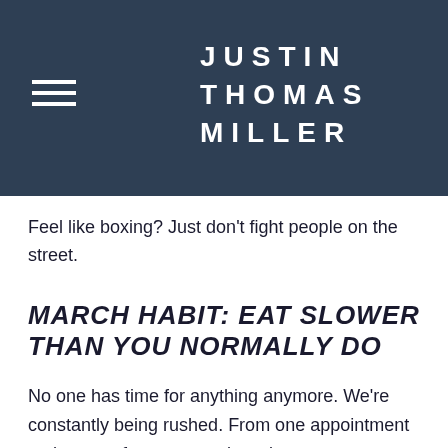JUSTIN THOMAS MILLER
Feel like boxing? Just don’t fight people on the street.
MARCH HABIT: EAT SLOWER THAN YOU NORMALLY DO
No one has time for anything anymore. We’re constantly being rushed. From one appointment to the next, from one work assignment to another, do this and finish that. It’s forced many of us to eat while driving, on the go, through a window, and very quickly.
This is a huge problem because you’re never giving